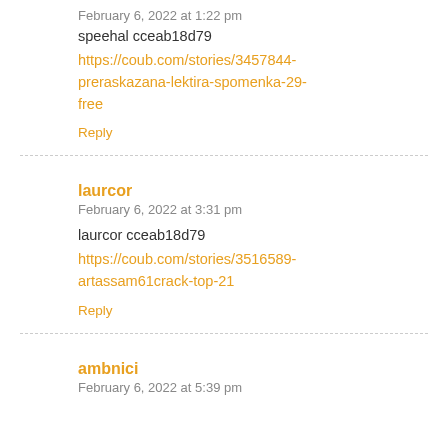February 6, 2022 at 1:22 pm
speehal cceab18d79
https://coub.com/stories/3457844-preraskazana-lektira-spomenka-29-free
Reply
laurcor
February 6, 2022 at 3:31 pm
laurcor cceab18d79
https://coub.com/stories/3516589-artassam61crack-top-21
Reply
ambnici
February 6, 2022 at 5:39 pm